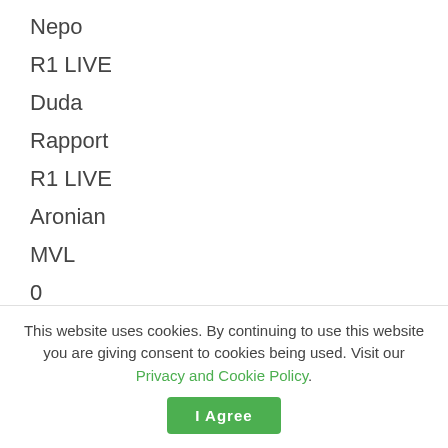Nepo
R1 LIVE
Duda
Rapport
R1 LIVE
Aronian
MVL
0
1
TB 1.3
MVL
So
1
0
This website uses cookies. By continuing to use this website you are giving consent to cookies being used. Visit our Privacy and Cookie Policy.